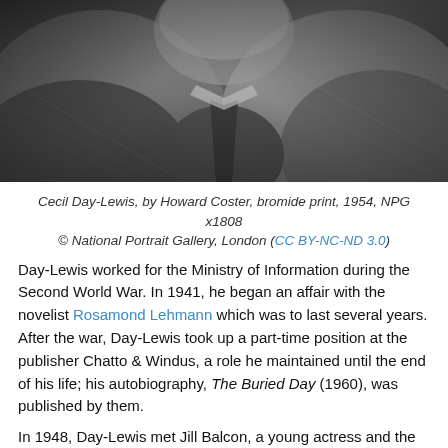[Figure (photo): Black and white close-up portrait photograph of Cecil Day-Lewis, showing the upper body and face partially obscured, wearing a tweed jacket and tie, by Howard Coster, 1954.]
Cecil Day-Lewis, by Howard Coster, bromide print, 1954, NPG x1808 © National Portrait Gallery, London (CC BY-NC-ND 3.0)
Day-Lewis worked for the Ministry of Information during the Second World War. In 1941, he began an affair with the novelist Rosamond Lehmann which was to last several years. After the war, Day-Lewis took up a part-time position at the publisher Chatto & Windus, a role he maintained until the end of his life; his autobiography, The Buried Day (1960), was published by them.
In 1948, Day-Lewis met Jill Balcon, a young actress and the daughter of the Ealing film producer Michael Balcon. Despite family opposition (Day-Lewis was still married to his first wife at the time), the relationship flourished and the pair married in 1951. They had two children, the writer Tamasin Day-Lewis and the actor Daniel Day-Lewis. The family moved to Greenwich in 1957.